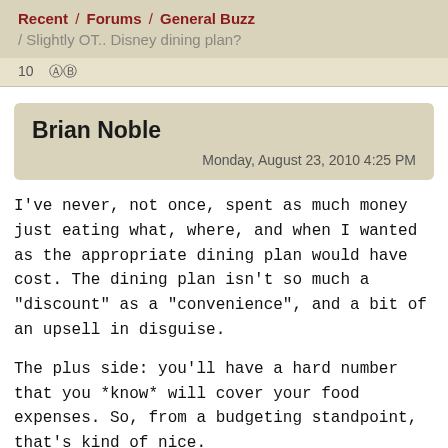Recent / Forums / General Buzz / Slightly OT.. Disney dining plan?
10  [icon]
Brian Noble
Monday, August 23, 2010 4:25 PM
I've never, not once, spent as much money just eating what, where, and when I wanted as the appropriate dining plan would have cost. The dining plan isn't so much a "discount" as a "convenience", and a bit of an upsell in disguise.
The plus side: you'll have a hard number that you *know* will cover your food expenses. So, from a budgeting standpoint, that's kind of nice.